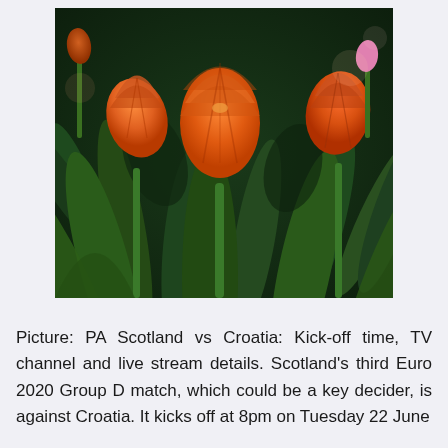[Figure (photo): Close-up photograph of orange tulips in a garden with dark green foliage in the background]
Picture: PA Scotland vs Croatia: Kick-off time, TV channel and live stream details. Scotland's third Euro 2020 Group D match, which could be a key decider, is against Croatia. It kicks off at 8pm on Tuesday 22 June and live on BBC1. Stream on The UEFA Euro 2020